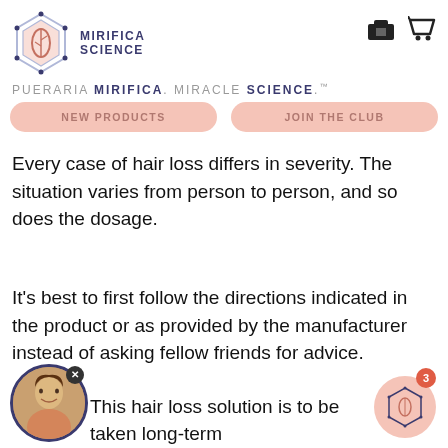[Figure (logo): Mirifica Science logo: hexagon with leaf/seed icon and brand name MIRIFICA SCIENCE]
PUERARIA MIRIFICA. MIRACLE SCIENCE.™
NEW PRODUCTS
JOIN THE CLUB
Every case of hair loss differs in severity. The situation varies from person to person, and so does the dosage.
It's best to first follow the directions indicated in the product or as provided by the manufacturer instead of asking fellow friends for advice.
This hair loss solution is to be taken long-term
[Figure (photo): Circular avatar photo of a woman, with an X close button above it]
[Figure (logo): Mirifica Science circular badge icon with notification number 3]